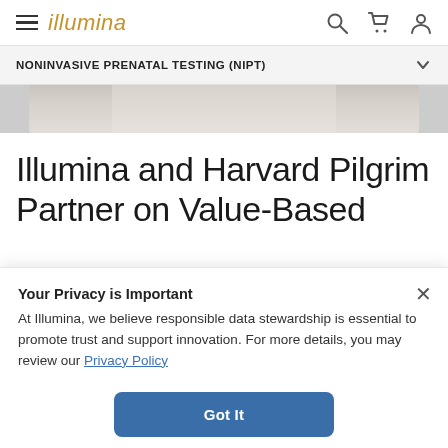illumina
NONINVASIVE PRENATAL TESTING (NIPT)
[Figure (photo): Partial view of a pregnant woman lying down, wearing white clothing, cropped hero image strip]
Illumina and Harvard Pilgrim Partner on Value-Based
Your Privacy is Important
At Illumina, we believe responsible data stewardship is essential to promote trust and support innovation. For more details, you may review our Privacy Policy
Got It